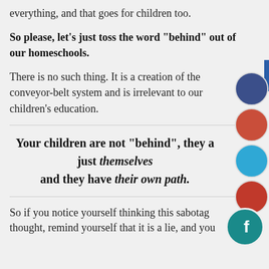everything, and that goes for children too.
So please, let's just toss the word "behind" out of our homeschools.
There is no such thing. It is a creation of the conveyor-belt system and is irrelevant to our children's education.
Your children are not "behind", they are just themselves and they have their own path.
So if you notice yourself thinking this sabotaging thought, remind yourself that it is a lie, and you